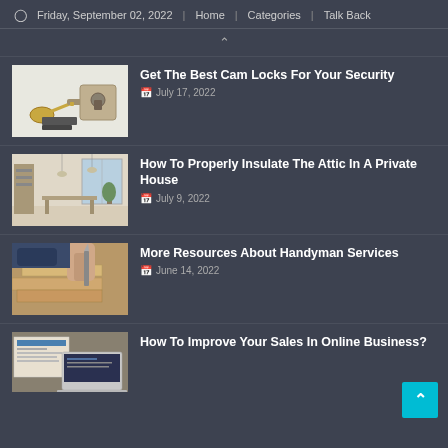Friday, September 02, 2022 | Home | Categories | Talk Back
[Figure (photo): Cam locks and keys on white background]
Get The Best Cam Locks For Your Security
July 17, 2022
[Figure (photo): Interior of a modern open loft space with pendant lights and shelving]
How To Properly Insulate The Attic In A Private House
July 9, 2022
[Figure (photo): Hands of a worker cutting or measuring wood planks on a workbench]
More Resources About Handyman Services
June 14, 2022
[Figure (photo): Newspapers and a laptop on a desk]
How To Improve Your Sales In Online Business?